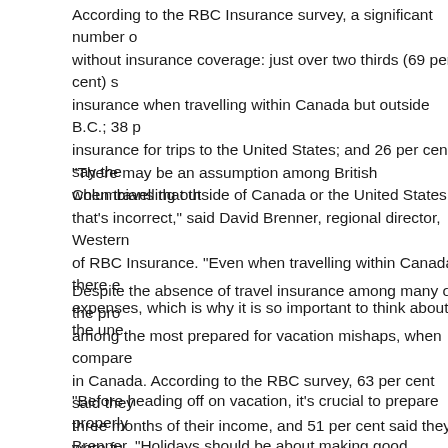According to the RBC Insurance survey, a significant number of without insurance coverage: just over two thirds (69 per cent) s insurance when travelling within Canada but outside B.C.; 38 p insurance for trips to the United States; and 26 per cent say the when travelling outside of Canada or the United States.
“There may be an assumption among British Columbians that th that's incorrect,” said David Brenner, regional director, Western of RBC Insurance. “Even when travelling within Canada, there e expenses, which is why it is so important to think about the une
Despite the absence of travel insurance among many of the pro among the most prepared for vacation mishaps, when compare in Canada. According to the RBC survey, 63 per cent said they three months of their income, and 51 per cent said they were fu four per cent of British Columbians are fully-prepared for car br emergency supply kit (first aid, blankets, extra clothing) in their
“Before heading off on vacation, it’s crucial to prepare properly Brenner. “Holidays should be about making good memories, rat could ruin a trip or leave a family with extensive out-of-pocket e